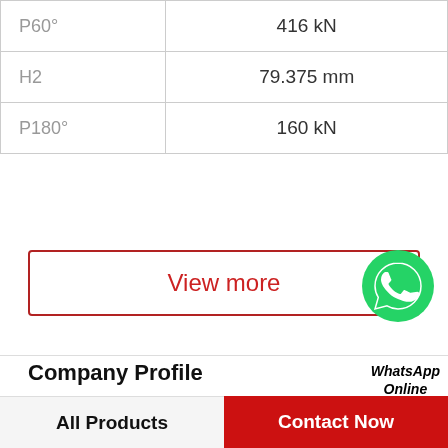| Parameter | Value |
| --- | --- |
| P60° | 416 kN |
| H2 | 79.375 mm |
| P180° | 160 kN |
View more
[Figure (logo): WhatsApp green phone icon with WhatsApp Online label]
Company Profile
Shanghai Pump Valve Manufacturing Co., Ltd.
Phone   +1-514-333-8054
View more
All Products
Contact Now